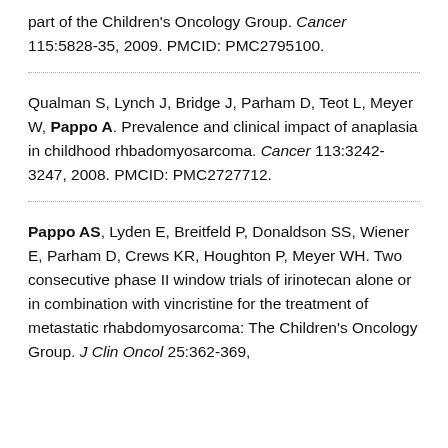part of the Children's Oncology Group. Cancer 115:5828-35, 2009. PMCID: PMC2795100.
Qualman S, Lynch J, Bridge J, Parham D, Teot L, Meyer W, Pappo A. Prevalence and clinical impact of anaplasia in childhood rhbadomyosarcoma. Cancer 113:3242-3247, 2008. PMCID: PMC2727712.
Pappo AS, Lyden E, Breitfeld P, Donaldson SS, Wiener E, Parham D, Crews KR, Houghton P, Meyer WH. Two consecutive phase II window trials of irinotecan alone or in combination with vincristine for the treatment of metastatic rhabdomyosarcoma: The Children's Oncology Group. J Clin Oncol 25:362-369,